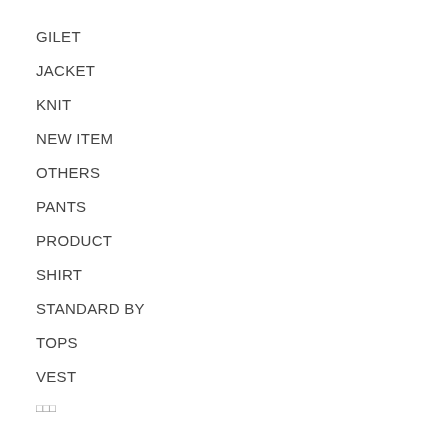GILET
JACKET
KNIT
NEW ITEM
OTHERS
PANTS
PRODUCT
SHIRT
STANDARD BY
TOPS
VEST
□□□